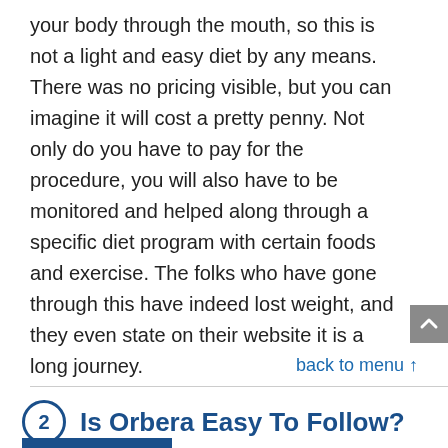your body through the mouth, so this is not a light and easy diet by any means. There was no pricing visible, but you can imagine it will cost a pretty penny. Not only do you have to pay for the procedure, you will also have to be monitored and helped along through a specific diet program with certain foods and exercise. The folks who have gone through this have indeed lost weight, and they even state on their website it is a long journey.
back to menu ↑
2  Is Orbera Easy To Follow?